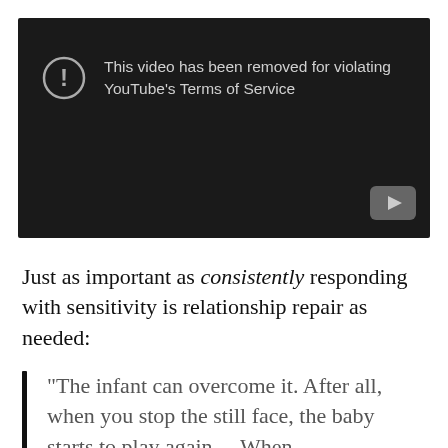[Figure (screenshot): YouTube video removed error screen — dark background with warning icon and text: 'This video has been removed for violating YouTube's Terms of Service', YouTube logo button at bottom right]
Just as important as consistently responding with sensitivity is relationship repair as needed:
“The infant can overcome it. After all, when you stop the still face, the baby starts to play again. ...When